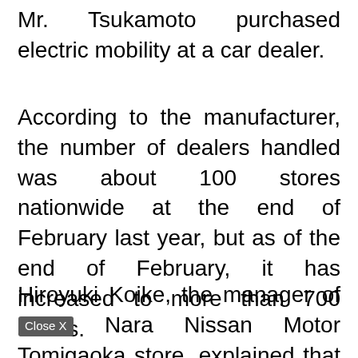Mr. Tsukamoto purchased electric mobility at a car dealer.
According to the manufacturer, the number of dealers handled was about 100 stores nationwide at the end of February last year, but as of the end of February, it has increased to more than 700 stores.
Hiroyuki Koike, the manager of the Nara Nissan Motor Tomigaoka store, explained that the relationship had been broken when the